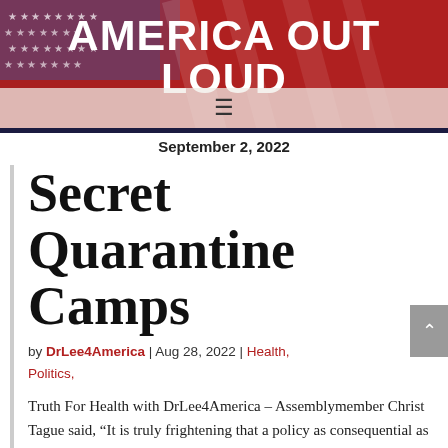AMERICA OUT LOUD
September 2, 2022
Secret Quarantine Camps
by DrLee4America | Aug 28, 2022 | Health, Politics,
Truth For Health with DrLee4America – Assemblymember Christ Tague said, “It is truly frightening that a policy as consequential as this is racing through the rulemaking process. This policy’s aim is to forcibly isolate law-